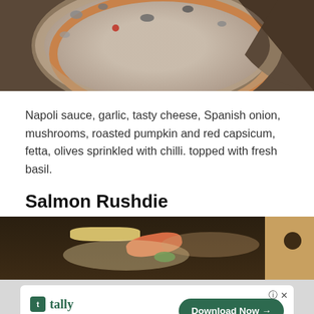[Figure (photo): Top-down photo of a pizza on a white plate with a slice missing, showing mushroom, tomato, and various toppings]
Napoli sauce, garlic, tasty cheese, Spanish onion, mushrooms, roasted pumpkin and red capsicum, fetta, olives sprinkled with chilli. topped with fresh basil.
Salmon Rushdie
[Figure (photo): Photo of a pizza slice in a cardboard box showing salmon, cheese, and spinach toppings]
[Figure (other): Advertisement banner for Tally app with text 'Fast credit card payoff' and 'Download Now' button]